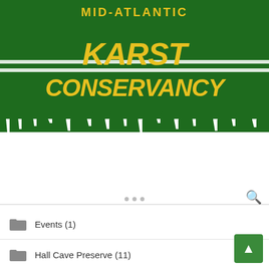[Figure (logo): Mid-Atlantic Karst Conservancy logo: dark green banner with yellow bold text 'MID-ATLANTIC' on top, below large yellow dripping graffiti-style text 'KARST CONSERVANCY' on green background with stalactite drip effect at bottom]
Events (1)
Hall Cave Preserve (11)